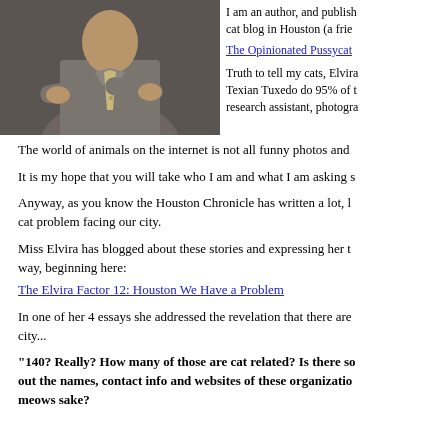[Figure (photo): A man in a grey shirt and tie standing with arms crossed]
I am an author, and publish cat blog in Houston (a frie
The Opinionated Pussycat
Truth to tell my cats, Elvira Texian Tuxedo do 95% of t research assistant, photogra
The world of animals on the internet is not all funny photos and
It is my hope that you will take who I am and what I am asking s
Anyway, as you know the Houston Chronicle has written a lot, l cat problem facing our city.
Miss Elvira has blogged about these stories and expressing her t way, beginning here:
The Elvira Factor 12: Houston We Have a Problem
In one of her 4 essays she addressed the revelation that there are city...
"140? Really? How many of those are cat related? Is there so out the names, contact info and websites of these organizatio meows sake?